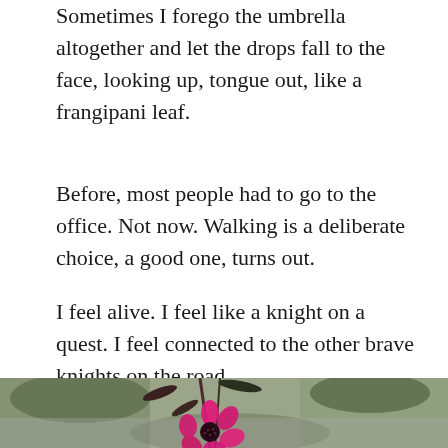Sometimes I forego the umbrella altogether and let the drops fall to the face, looking up, tongue out, like a frangipani leaf.
Before, most people had to go to the office. Not now. Walking is a deliberate choice, a good one, turns out.
I feel alive. I feel like a knight on a quest. I feel connected to the other brave knights on the road.
[Figure (photo): Close-up photograph of a bright pink/magenta flower (resembling a tea tree or manuka flower) with dark reddish-green leaves and stems, against a blurred green and grey outdoor background.]